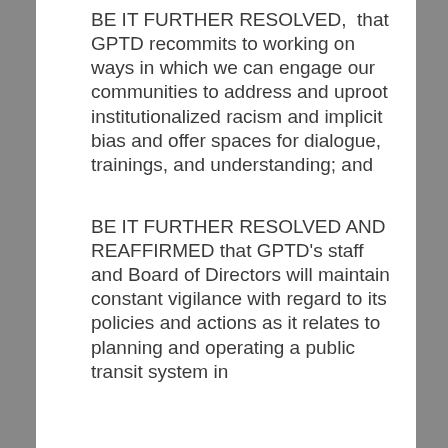BE IT FURTHER RESOLVED,  that GPTD recommits to working on ways in which we can engage our communities to address and uproot institutionalized racism and implicit bias and offer spaces for dialogue, trainings, and understanding; and
BE IT FURTHER RESOLVED AND REAFFIRMED that GPTD's staff and Board of Directors will maintain constant vigilance with regard to its policies and actions as it relates to planning and operating a public transit system in